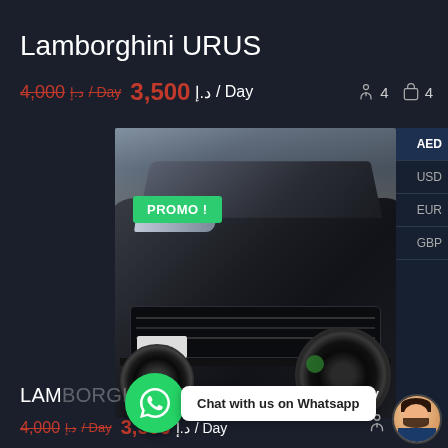Lamborghini URUS
4,000 + Day  3,500 د.إ / Day   4 seats  4 bags
[Figure (photo): Front view of a dark grey Lamborghini URUS SUV with PROMO! badge overlay and currency selector (AED, USD, EUR, GBP) on the right side. WhatsApp chat button overlaid at bottom.]
LAMBORGHINI URUS 2022 Hard Grey
4,000 + Day  3,500 د.إ / Day